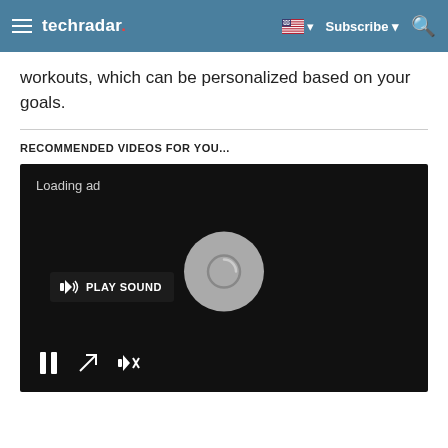techradar — Subscribe
workouts, which can be personalized based on your goals.
RECOMMENDED VIDEOS FOR YOU...
[Figure (screenshot): Video player with black background showing 'Loading ad' text, a PLAY SOUND button, a circular spinner/loading icon in the center, and playback controls (pause, expand, mute) at the bottom.]